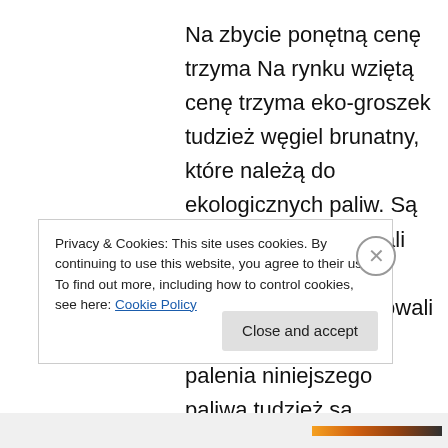Na zbycie ponętną cenę trzyma Na rynku wziętą cenę trzyma eko-groszek tudzież węgiel brunatny, które należą do ekologicznych paliw. Są ludzie, którzy spotykali się już z węglem brunatnym, eksploatowali sobie dobre metody palenia niniejszego paliwa tudzież są nadzwyczaj usatysfakcjonowani. i węgiel brunatny, jakie wpisują się do ekologicznych paliw. Są ludzie, którzy mieli do czynienia już z Na zbycie dobrą cenę trzyma eko-groszek oraz
Privacy & Cookies: This site uses cookies. By continuing to use this website, you agree to their use.
To find out more, including how to control cookies, see here: Cookie Policy
Close and accept